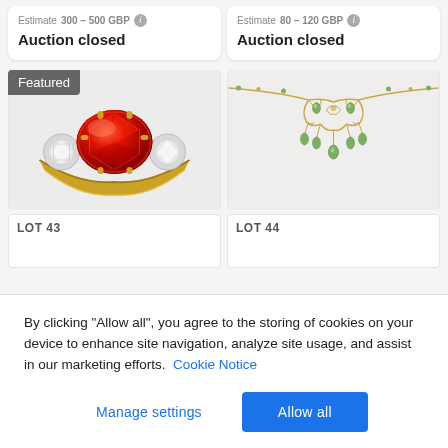Estimate 300 - 500 GBP
Auction closed
Estimate 80 - 120 GBP
Auction closed
Featured
[Figure (photo): Gold ring with large oval red gemstone flanked by two diamond clusters]
[Figure (photo): Antique gold necklace with green peridot drops in decorative scrollwork]
LOT 43
LOT 44
By clicking "Allow all", you agree to the storing of cookies on your device to enhance site navigation, analyze site usage, and assist in our marketing efforts. Cookie Notice
Manage settings
Allow all